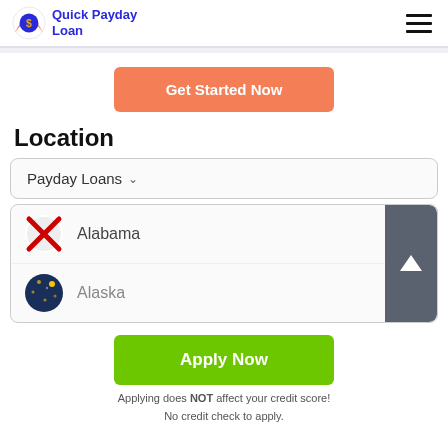Quick Payday Loan
Get Started Now
Location
Payday Loans
Alabama
Alaska
Apply Now
Applying does NOT affect your credit score! No credit check to apply.